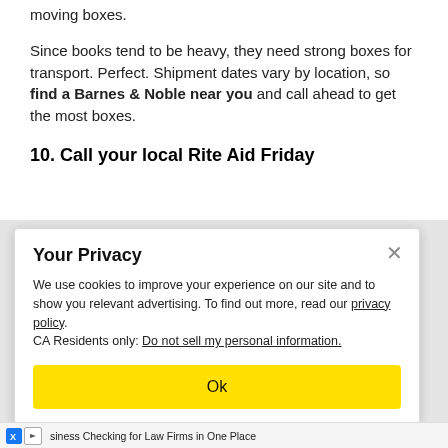moving boxes.
Since books tend to be heavy, they need strong boxes for transport. Perfect. Shipment dates vary by location, so find a Barnes & Noble near you and call ahead to get the most boxes.
10. Call your local Rite Aid Friday
Your Privacy
We use cookies to improve your experience on our site and to show you relevant advertising. To find out more, read our privacy policy.
CA Residents only: Do not sell my personal information.
Ok
siness Checking for Law Firms in One Place